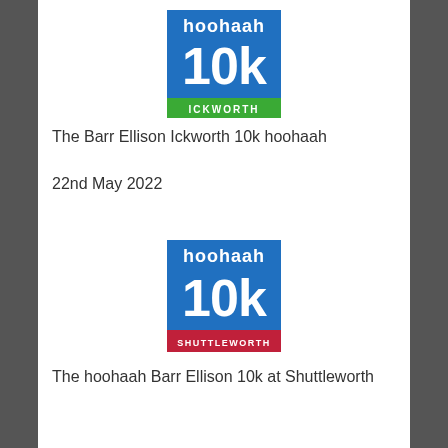[Figure (logo): hoohaah 10k ICKWORTH logo — blue square with white text 'hoohaah' and '10k', green banner at bottom reading 'ICKWORTH']
The Barr Ellison Ickworth 10k hoohaah
22nd May 2022
[Figure (logo): hoohaah 10k SHUTTLEWORTH logo — blue square with white text 'hoohaah' and '10k', red banner at bottom reading 'SHUTTLEWORTH']
The hoohaah Barr Ellison 10k at Shuttleworth